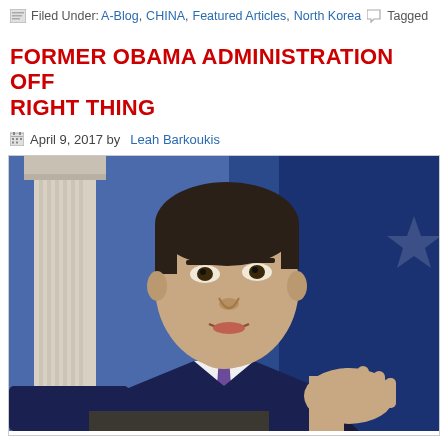Filed Under: A-Blog, CHINA, Featured Articles, North Korea  Tagged
FORMER OBAMA ADMINISTRATION OFF RIGHT THING
April 9, 2017 by Leah Barkoukis
[Figure (photo): A man in a dark suit and purple tie speaking at a podium, appearing to be at the White House briefing room, gesturing with his right hand. A white column is visible in the background along with blue signage.]